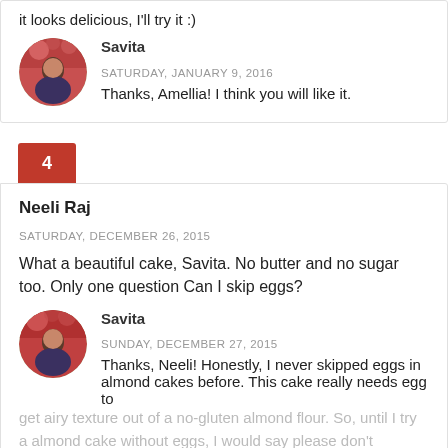it looks delicious, I'll try it :)
Savita
SATURDAY, JANUARY 9, 2016
Thanks, Amellia! I think you will like it.
4
Neeli Raj
SATURDAY, DECEMBER 26, 2015
What a beautiful cake, Savita. No butter and no sugar too. Only one question Can I skip eggs?
Savita
SUNDAY, DECEMBER 27, 2015
Thanks, Neeli! Honestly, I never skipped eggs in almond cakes before. This cake really needs egg to get airy texture out of a no-gluten almond flour. So, until I try a almond cake without eggs, I would say please don't